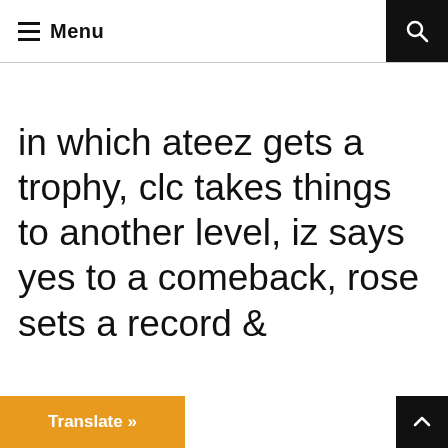☰ Menu
in which ateez gets a trophy, clc takes things to another level, iz says yes to a comeback, rose sets a record &